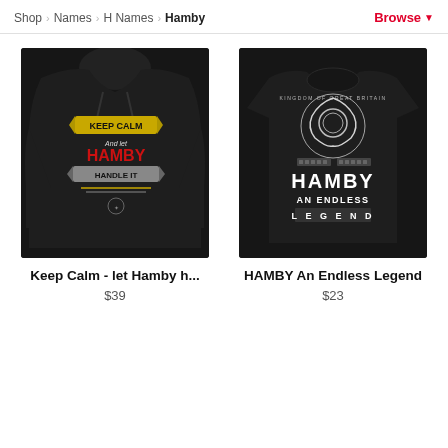Shop > Names > H Names > Hamby | Browse
[Figure (photo): Black hoodie with 'Keep Calm And let HAMBY Handle It' graphic design in red, yellow, and white on the back]
Keep Calm - let Hamby h...
$39
[Figure (photo): Black t-shirt with 'HAMBY AN ENDLESS LEGEND' graphic and dragon/celtic design in white]
HAMBY An Endless Legend
$23